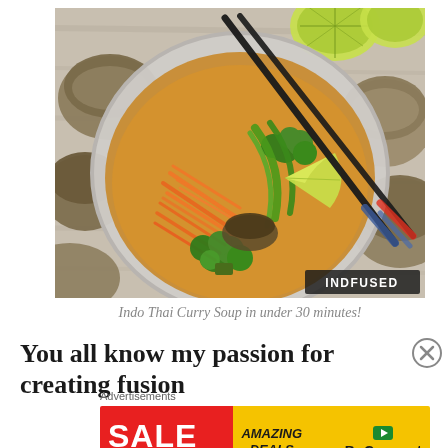[Figure (photo): Overhead view of a bowl of Indo Thai Curry Soup with broccoli, shredded carrots, green peppers, mushrooms, a lime wedge, black chopsticks resting across the bowl, surrounded by mushrooms and lime halves on a wooden surface. INDFUSED watermark in bottom right corner.]
Indo Thai Curry Soup in under 30 minutes!
You all know my passion for creating fusion
Advertisements
[Figure (other): Advertisement banner: Red section with SALE in large white text and EKSTRAORDINÆR below. Yellow section with AMAZING DEALS in italic bold and BoConcept logo with play button icon.]